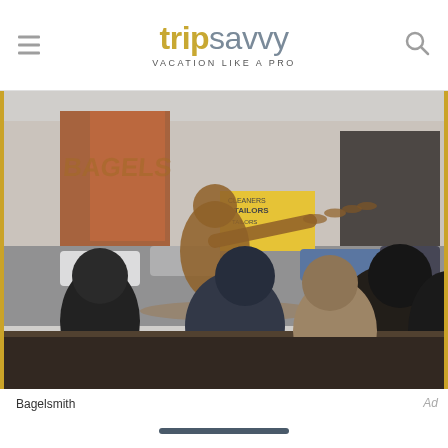tripsavvy VACATION LIKE A PRO
[Figure (photo): Interior of Bagelsmith restaurant, showing customers seated at a counter facing a large window with the Bagelsmith logo etched on the glass. Outside the window is a busy urban street scene with cars, parked vehicles, storefronts including a tailors shop with yellow signage, and bare winter trees.]
Bagelsmith
Ad